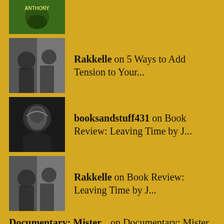Rakkelle on 5 Ways to Add Tension to Your...
booksandstuff431 on Book Review: Leaving Time by J...
Rakkelle on Book Review: Leaving Time by J...
Documentary: Mister... on Documentary: Mister Rogers' Ne...
META
Log in
Entries feed